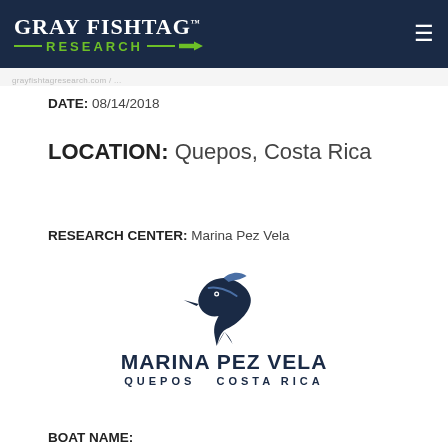GRAY FISHTAG RESEARCH
DATE: 08/14/2018
LOCATION: Quepos, Costa Rica
RESEARCH CENTER: Marina Pez Vela
[Figure (logo): Marina Pez Vela logo with marlin icon, text MARINA PEZ VELA QUEPOS COSTA RICA in navy blue]
BOAT NAME: